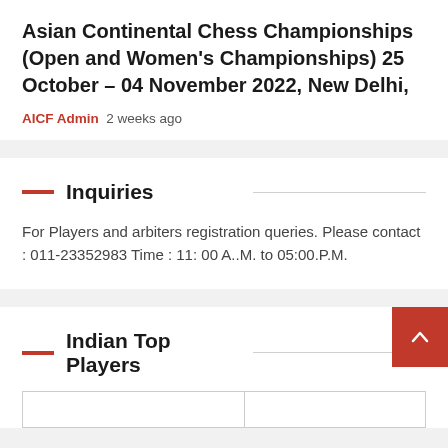Asian Continental Chess Championships (Open and Women's Championships) 25 October – 04 November 2022, New Delhi,
AICF Admin  2 weeks ago
Inquiries
For Players and arbiters registration queries. Please contact : 011-23352983 Time : 11: 00 A..M. to 05:00.P.M.
Indian Top Players
|  |  |